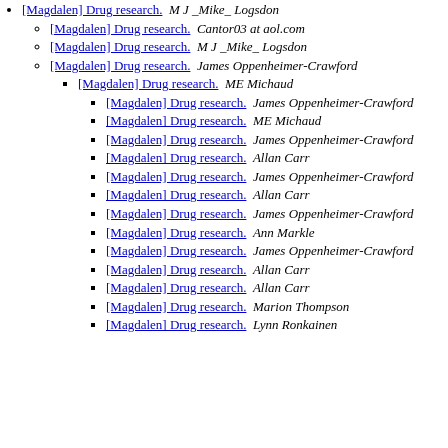[Magdalen] Drug research.  M J _Mike_ Logsdon
[Magdalen] Drug research.  Cantor03 at aol.com
[Magdalen] Drug research.  M J _Mike_ Logsdon
[Magdalen] Drug research.  James Oppenheimer-Crawford
[Magdalen] Drug research.  ME Michaud
[Magdalen] Drug research.  James Oppenheimer-Crawford
[Magdalen] Drug research.  ME Michaud
[Magdalen] Drug research.  James Oppenheimer-Crawford
[Magdalen] Drug research.  Allan Carr
[Magdalen] Drug research.  James Oppenheimer-Crawford
[Magdalen] Drug research.  Allan Carr
[Magdalen] Drug research.  James Oppenheimer-Crawford
[Magdalen] Drug research.  Ann Markle
[Magdalen] Drug research.  James Oppenheimer-Crawford
[Magdalen] Drug research.  Allan Carr
[Magdalen] Drug research.  Allan Carr
[Magdalen] Drug research.  Marion Thompson
[Magdalen] Drug research.  Lynn Ronkainen